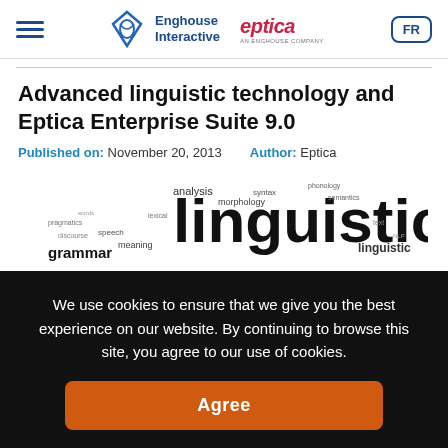Enghouse Interactive | eptica | FR
Advanced linguistic technology and Eptica Enterprise Suite 9.0
Published on: November 20, 2013    Author: Eptica
[Figure (illustration): Word cloud featuring the word 'linguistics' prominently in large text, with other linguistic terms like 'grammar', 'speech', 'meaning', 'linguistic' in smaller sizes arranged around it.]
We use cookies to ensure that we give you the best experience on our website. By continuing to browse this site, you agree to our use of cookies.
Agree